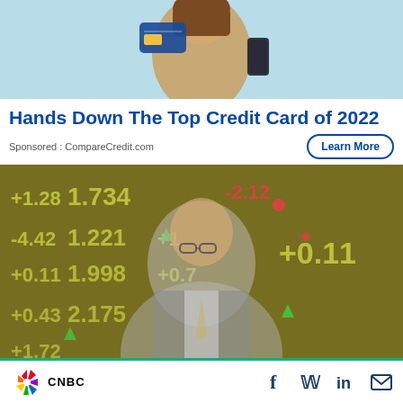[Figure (photo): Woman holding a credit card up to her face and a smartphone, teal/light blue background]
Hands Down The Top Credit Card of 2022
Sponsored : CompareCredit.com
[Figure (photo): Man in suit looking down at stock market ticker board with green numbers showing 1.734, 1.221, 1.998, 2.175 and changes like +1.28, -4.42, +0.11, +0.43, +1.72 and +0.11 on the right]
BlackRock CEO Predicts Next Wave of Market Winners
CNBC logo with social media icons: Facebook, Twitter, LinkedIn, Email